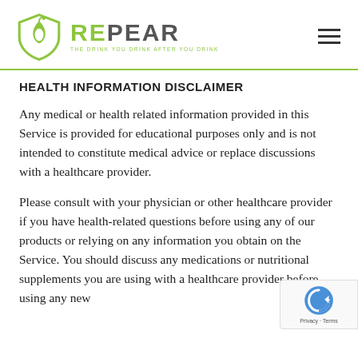[Figure (logo): Repear logo with green shield/pear icon and brand name REPEAR with tagline THE DRINK YOU DRINK AFTER YOU DRINK]
HEALTH INFORMATION DISCLAIMER
Any medical or health related information provided in this Service is provided for educational purposes only and is not intended to constitute medical advice or replace discussions with a healthcare provider.
Please consult with your physician or other healthcare provider if you have health-related questions before using any of our products or relying on any information you obtain on the Service. You should discuss any medications or nutritional supplements you are using with a healthcare provider before using any new